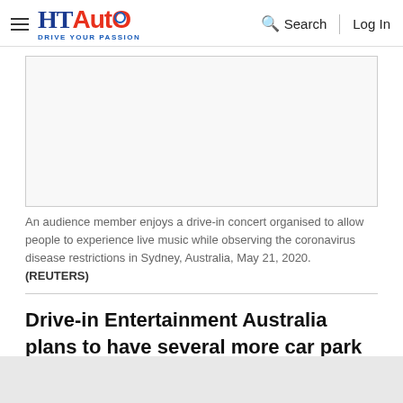HT Auto - Drive Your Passion | Search | Log In
[Figure (photo): Placeholder image box for a drive-in concert photo]
An audience member enjoys a drive-in concert organised to allow people to experience live music while observing the coronavirus disease restrictions in Sydney, Australia, May 21, 2020. (REUTERS)
Drive-in Entertainment Australia plans to have several more car park concerts in coming months with many more people being able to attend as Covid-19 restrictions are eased further.